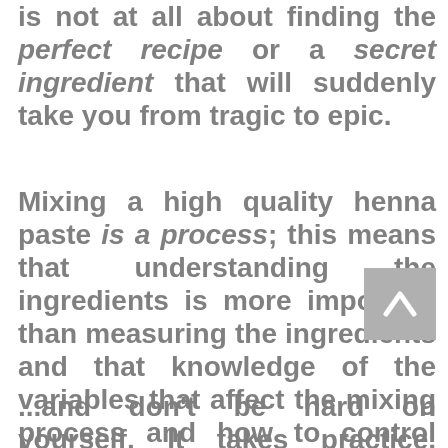is not at all about finding the perfect recipe or a secret ingredient that will suddenly take you from tragic to epic.
Mixing a high quality henna paste is a process; this means that understanding the ingredients is more important than measuring the ingredients and that knowledge of the variables that affect the mixing process and how to control and optimize them is what will get your paste to reach optimal degrees of perfection.
...and don't be hard on yourself. It takes practice, patience, and did I mention